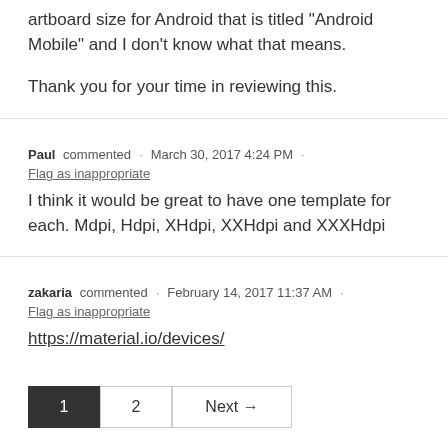artboard size for Android that is titled "Android Mobile" and I don't know what that means.

Thank you for your time in reviewing this.
Paul commented · March 30, 2017 4:24 PM · Flag as inappropriate
I think it would be great to have one template for each. Mdpi, Hdpi, XHdpi, XXHdpi and XXXHdpi
zakaria commented · February 14, 2017 11:37 AM · Flag as inappropriate
https://material.io/devices/
1  2  Next →